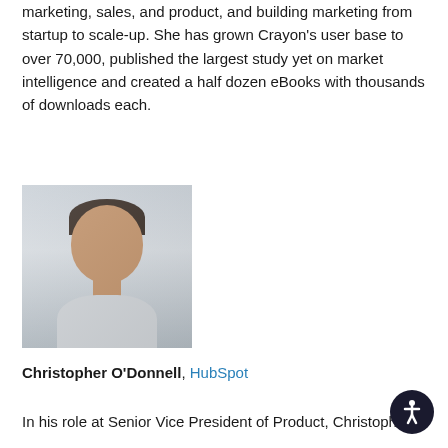marketing, sales, and product, and building marketing from startup to scale-up. She has grown Crayon's user base to over 70,000, published the largest study yet on market intelligence and created a half dozen eBooks with thousands of downloads each.
[Figure (photo): Headshot photo of Christopher O'Donnell, a smiling man with short dark hair wearing a light grey zip-up jacket]
Christopher O'Donnell, HubSpot
In his role at Senior Vice President of Product, Christopher